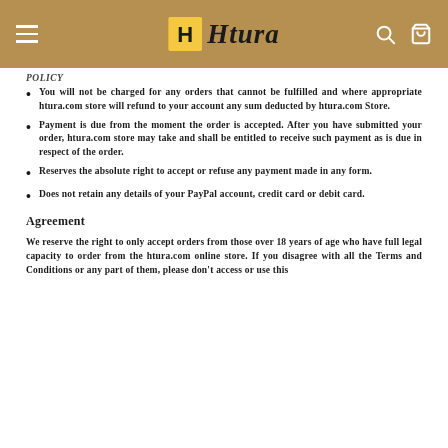Htura — Navigation header with logo, search and cart icons
You will not be charged for any orders that cannot be fulfilled and where appropriate htura.com store will refund to your account any sum deducted by htura.com Store.
Payment is due from the moment the order is accepted. After you have submitted your order, htura.com store may take and shall be entitled to receive such payment as is due in respect of the order.
Reserves the absolute right to accept or refuse any payment made in any form.
Does not retain any details of your PayPal account, credit card or debit card.
Agreement
We reserve the right to only accept orders from those over 18 years of age who have full legal capacity to order from the htura.com online store. If you disagree with all the Terms and Conditions or any part of them, please don't access or use this